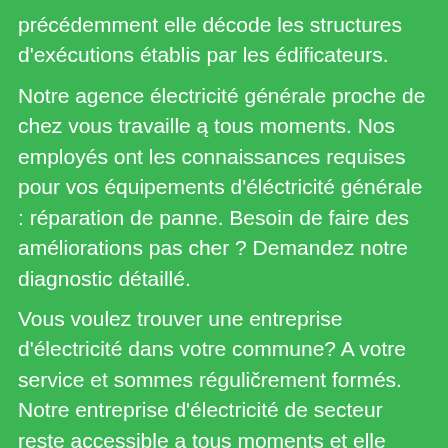précédemment elle décode les structures d'exécutions établis par les édificateurs. Notre agence électricité générale proche de chez vous travaille ą tous moments. Nos employés ont les connaissances requises pour vos équipements d'éléctricité générale : réparation de panne. Besoin de faire des améliorations pas cher ? Demandez notre diagnostic détaillé. Vous voulez trouver une entreprise d'électricité dans votre commune? A votre service et sommes réguličrement formés. Notre entreprise d'électricité de secteur reste accessible ą tous moments et elle vous permet d'accéder ą nos équipes d'électriciens qualifiés, qui peuvent se rendre en urgence ou RDV. Notre entreprise d'électricité effectue vos dépannages électricité avec des prix réduits. Spécialiste Service electricien Notre magasin courts circuits dépannage tableaux électriques la prise de